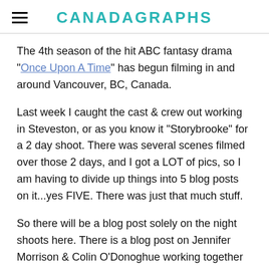CANADAGRAPHS
The 4th season of the hit ABC fantasy drama "Once Upon A Time" has begun filming in and around Vancouver, BC, Canada.
Last week I caught the cast & crew out working in Steveston, or as you know it "Storybrooke" for a 2 day shoot. There was several scenes filmed over those 2 days, and I got a LOT of pics, so I am having to divide up things into 5 blog posts on it...yes FIVE. There was just that much stuff.
So there will be a blog post solely on the night shoots here. There is a blog post on Jennifer Morrison & Colin O'Donoghue working together (already posted HERE).